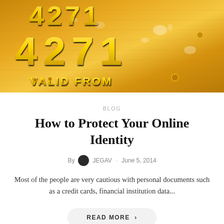[Figure (photo): Close-up photograph of a gold credit card showing embossed numbers '4271' and text 'VALID FROM' with water droplets on the card surface.]
BLOG
How to Protect Your Online Identity
By JEGAV · June 5, 2014
Most of the people are very cautious with personal documents such as a credit cards, financial institution data...
READ MORE >